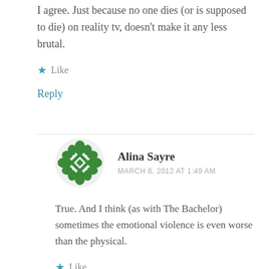I agree. Just because no one dies (or is supposed to die) on reality tv, doesn't make it any less brutal.
★ Like
Reply
Alina Sayre
MARCH 6, 2012 AT 1:49 AM
True. And I think (as with The Bachelor) sometimes the emotional violence is even worse than the physical.
★ Like
Reply